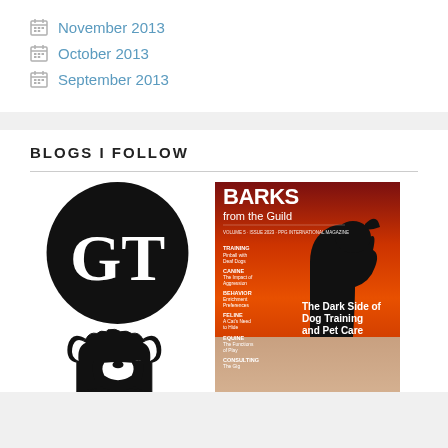November 2013
October 2013
September 2013
BLOGS I FOLLOW
[Figure (logo): GT logo in black circle with dog silhouette below]
[Figure (photo): BARKS from the Guild magazine cover with dog silhouette and text 'The Dark Side of Dog Training and Pet Care']